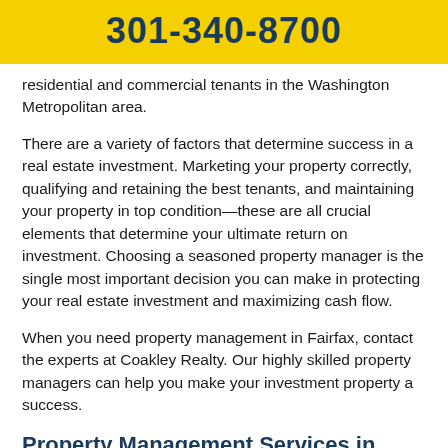301-340-8700
residential and commercial tenants in the Washington Metropolitan area.
There are a variety of factors that determine success in a real estate investment. Marketing your property correctly, qualifying and retaining the best tenants, and maintaining your property in top condition—these are all crucial elements that determine your ultimate return on investment. Choosing a seasoned property manager is the single most important decision you can make in protecting your real estate investment and maximizing cash flow.
When you need property management in Fairfax, contact the experts at Coakley Realty. Our highly skilled property managers can help you make your investment property a success.
Property Management Services in Fairfax, Virginia